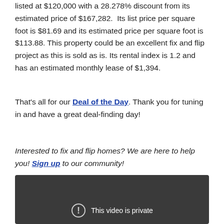listed at $120,000 with a 28.278% discount from its estimated price of $167,282.  Its list price per square foot is $81.69 and its estimated price per square foot is $113.88. This property could be an excellent fix and flip project as this is sold as is. Its rental index is 1.2 and has an estimated monthly lease of $1,394.
That's all for our Deal of the Day. Thank you for tuning in and have a great deal-finding day!
Interested to fix and flip homes? We are here to help you! Sign up to our community!
[Figure (screenshot): Dark grey video player showing 'This video is private' message with a circular exclamation mark icon]